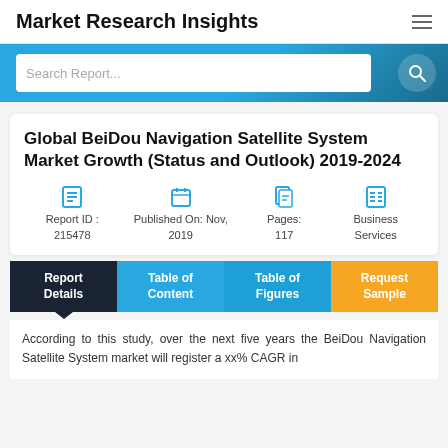Market Research Insights
[Figure (screenshot): Hero banner with blue gradient background and a search box labeled 'Search Report...' with a search icon]
Global BeiDou Navigation Satellite System Market Growth (Status and Outlook) 2019-2024
Report ID : 215478 | Published On: Nov, 2019 | Pages: 117 | Business Services
Report Details | Table of Content | Table of Figures | Request Sample
According to this study, over the next five years the BeiDou Navigation Satellite System market will register a xx% CAGR in